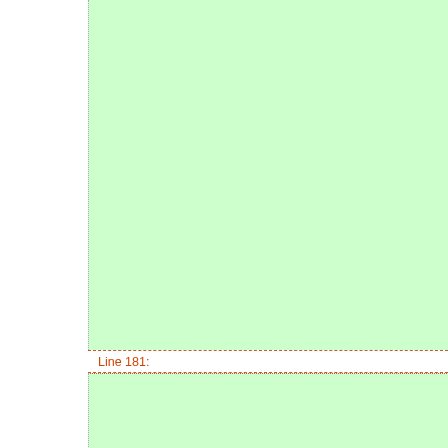Line 181:
Line 258:
For minutes of previous meetings, please see FoundationsTeam
Present
ScottJamesRemnant
EvanDandrea
GaryLasker - chair